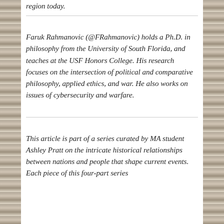region today.
Faruk Rahmanovic (@FRahmanovic) holds a Ph.D. in philosophy from the University of South Florida, and teaches at the USF Honors College. His research focuses on the intersection of political and comparative philosophy, applied ethics, and war. He also works on issues of cybersecurity and warfare.
This article is part of a series curated by MA student Ashley Pratt on the intricate historical relationships between nations and people that shape current events. Each piece of this four-part series